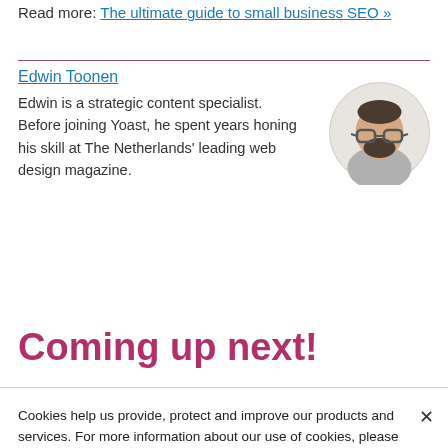Read more: The ultimate guide to small business SEO »
Edwin Toonen
Edwin is a strategic content specialist. Before joining Yoast, he spent years honing his skill at The Netherlands' leading web design magazine.
[Figure (illustration): Circular avatar portrait of Edwin Toonen, a man with glasses and a beard wearing a grey shirt]
Coming up next!
Cookies help us provide, protect and improve our products and services. For more information about our use of cookies, please refer to our Privacy policy.